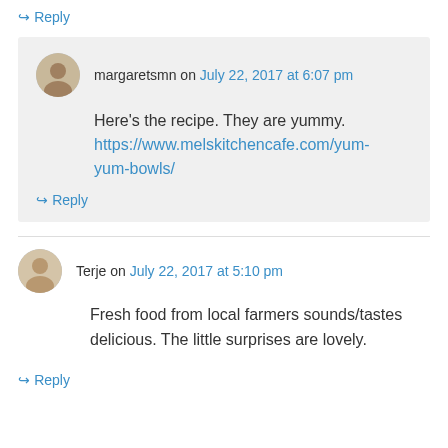↪ Reply
margaretsmn on July 22, 2017 at 6:07 pm
Here's the recipe. They are yummy. https://www.melskitchencafe.com/yum-yum-bowls/
↪ Reply
Terje on July 22, 2017 at 5:10 pm
Fresh food from local farmers sounds/tastes delicious. The little surprises are lovely.
↪ Reply